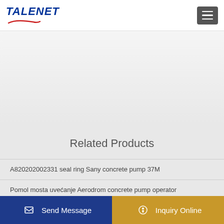TALENET
[Figure (photo): Banner image area, light gray background with subtle texture]
Related Products
A820202002331 seal ring Sany concrete pump 37M
Pomol mosta uvećanje Aerodrom concrete pump operator
Jo Howard Concrete Pumping in Carnegie PA Business
Ezi-Flow Concrete Pumping Warriewood 2021
Send Message
Inquiry Online